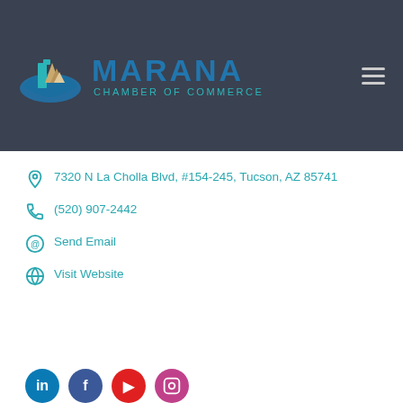[Figure (logo): Marana Chamber of Commerce logo with geometric mountain/building shapes in blue and gold, with text 'MARANA CHAMBER OF COMMERCE' in blue]
7320 N La Cholla Blvd, #154-245, Tucson, AZ 85741
(520) 907-2442
Send Email
Visit Website